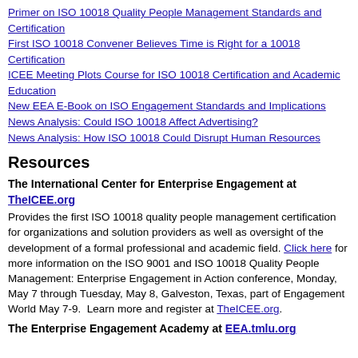Primer on ISO 10018 Quality People Management Standards and Certification
First ISO 10018 Convener Believes Time is Right for a 10018 Certification
ICEE Meeting Plots Course for ISO 10018 Certification and Academic Education
New EEA E-Book on ISO Engagement Standards and Implications
News Analysis: Could ISO 10018 Affect Advertising?
News Analysis: How ISO 10018 Could Disrupt Human Resources
Resources
The International Center for Enterprise Engagement at TheICEE.org Provides the first ISO 10018 quality people management certification for organizations and solution providers as well as oversight of the development of a formal professional and academic field. Click here for more information on the ISO 9001 and ISO 10018 Quality People Management: Enterprise Engagement in Action conference, Monday, May 7 through Tuesday, May 8, Galveston, Texas, part of Engagement World May 7-9. Learn more and register at TheICEE.org.
The Enterprise Engagement Academy at EEA.tmlu.org